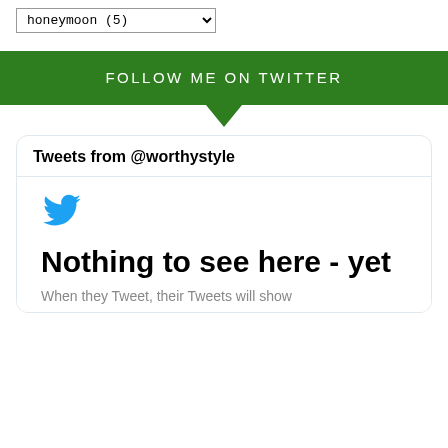honeymoon (5)
FOLLOW ME ON TWITTER
Tweets from @worthystyle
[Figure (logo): Twitter bird logo in blue]
Nothing to see here - yet
When they Tweet, their Tweets will show